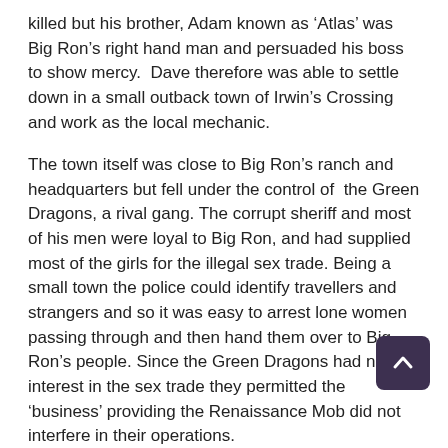killed but his brother, Adam known as 'Atlas' was Big Ron's right hand man and persuaded his boss to show mercy.  Dave therefore was able to settle down in a small outback town of Irwin's Crossing and work as the local mechanic.
The town itself was close to Big Ron's ranch and headquarters but fell under the control of  the Green Dragons, a rival gang. The corrupt sheriff and most of his men were loyal to Big Ron, and had supplied most of the girls for the illegal sex trade. Being a small town the police could identify travellers and strangers and so it was easy to arrest lone women passing through and then hand them over to Big Ron's people. Since the Green Dragons had no interest in the sex trade they permitted the 'business' providing the Renaissance Mob did not interfere in their operations.
As Rose had failed to eliminate her target she knew th Twelve would consider her a failure, despite the fact s been betrayed. Getting captured had exposed the "The